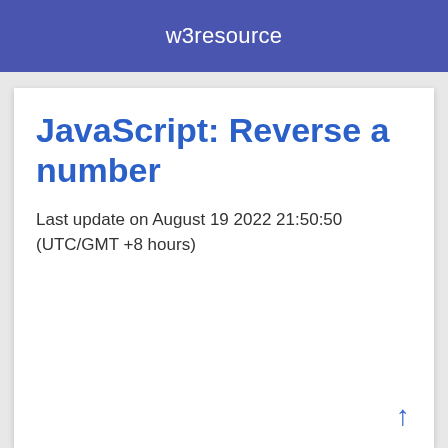w3resource
JavaScript: Reverse a number
Last update on August 19 2022 21:50:50 (UTC/GMT +8 hours)